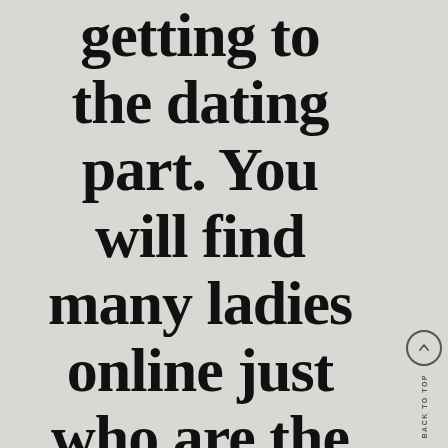getting to the dating part. You will find many ladies online just who are the
BACK TO TOP